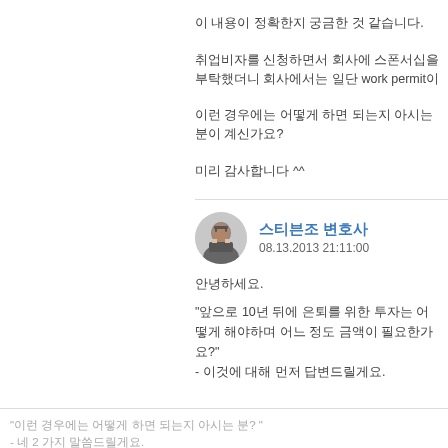이 내용이 정확한지 궁금한 것 같습니다.
취업비자를 신청하면서 회사에 스폰서십을 부탁했더니 회사에서는 일단 work permit이
이런 경우에는 어떻게 하면 되는지 아시는 분이 계신가요?
미리 감사합니다 ^^
스티븐조 변호사
08.13.2013 21:11:00
안녕하세요.
"앞으로 10년 뒤에 은퇴를 위한 투자는 어떻게 해야하며 어느 정도 금액이 필요한가요?" - 이것에 대해 먼저 답변드릴게요.
"이런 경우에는 어떻게 하면 되는지 아시는 분? " - 네 2 가지 말씀드릴게요.